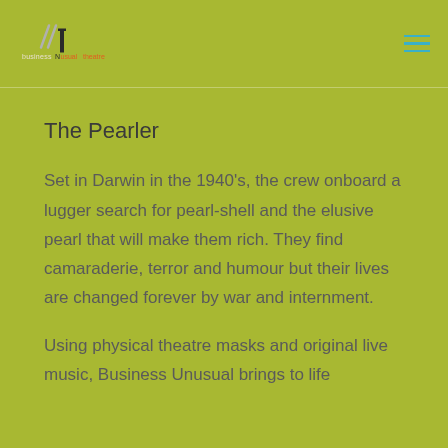business unusual theatre
The Pearler
Set in Darwin in the 1940's, the crew onboard a lugger search for pearl-shell and the elusive pearl that will make them rich. They find camaraderie, terror and humour but their lives are changed forever by war and internment.
Using physical theatre masks and original live music, Business Unusual brings to life